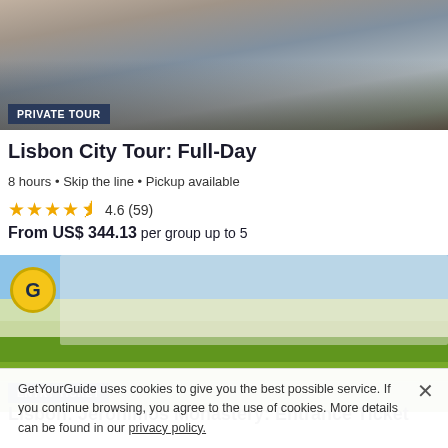[Figure (photo): Group photo of 6 people standing on a rooftop terrace overlooking Lisbon cityscape with red rooftop buildings.]
PRIVATE TOUR
Lisbon City Tour: Full-Day
8 hours • Skip the line • Pickup available
4.6 (59)
From US$ 344.13 per group up to 5
[Figure (photo): Aerial view of Jerónimos Monastery gardens with fountains and manicured hedges. GetYourGuide logo badge visible.]
ENTRY TICKET
Lisbon: Jerónimos Monastery: Entrance Ticket
GetYourGuide uses cookies to give you the best possible service. If you continue browsing, you agree to the use of cookies. More details can be found in our privacy policy.